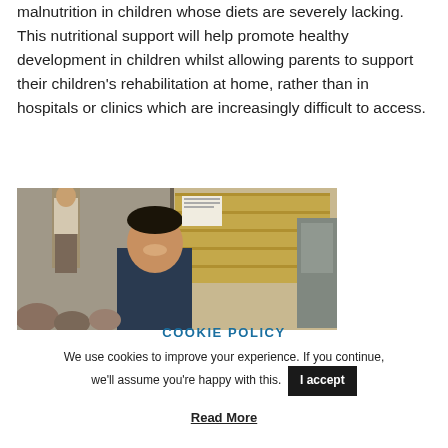malnutrition in children whose diets are severely lacking. This nutritional support will help promote healthy development in children whilst allowing parents to support their children's rehabilitation at home, rather than in hospitals or clinics which are increasingly difficult to access.
[Figure (photo): A man smiling at the camera in a warehouse/distribution setting with stacked boxes and another person visible in the background.]
COOKIE POLICY
We use cookies to improve your experience. If you continue, we'll assume you're happy with this.
I accept
Read More